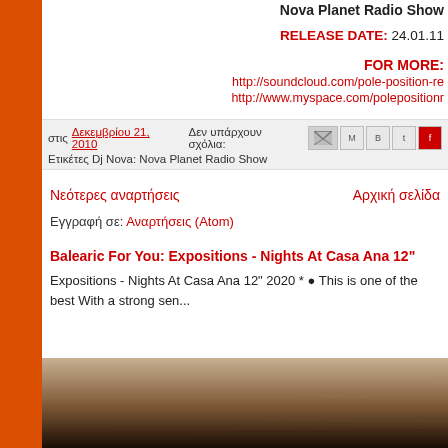Nova Planet Radio Show
RELEASE DATE: 24.01.11
FOR MORE:
http://soundcloud.com/pole-position-re
http://www.myspace.com/polepositionr
στις Δεκεμβρίου 21, 2010   Δεν υπάρχουν σχόλια:
Ετικέτες Dj Nova: Nova Planet Radio Show
Νεότερες αναρτήσεις
Αρχική σελίδα
Εγγραφή σε: Αναρτήσεις (Atom)
Balearic For You: Expositions - Nights At Casa Ana 12"
Expositions - Nights At Casa Ana 12" 2020 * ● This is one of the best With a strong sen...
[Figure (photo): Bottom portion of a photo showing a textured brownish surface]